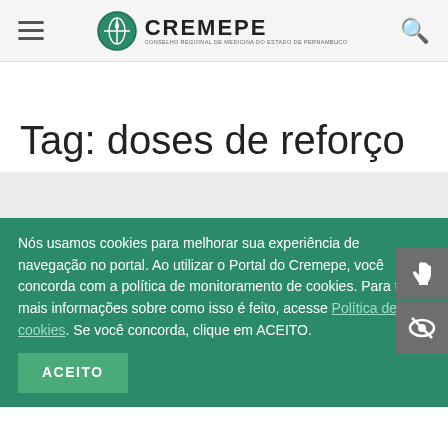CREMEPE — CONSELHO REGIONAL DE MEDICINA DO ESTADO DE PERNAMBUCO
Tag: doses de reforço
Nós usamos cookies para melhorar sua experiência de navegação no portal. Ao utilizar o Portal do Cremepe, você concorda com a política de monitoramento de cookies. Para ter mais informações sobre como isso é feito, acesse Política de cookies. Se você concorda, clique em ACEITO.
ACEITO